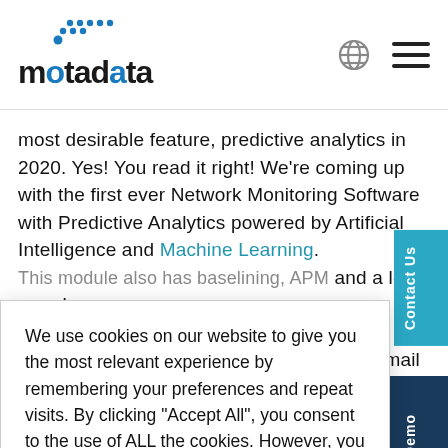[Figure (logo): Motadata logo with blue dot grid and blue/black wordmark]
most desirable feature, predictive analytics in 2020. Yes! You read it right! We're coming up with the first ever Network Monitoring Software with Predictive Analytics powered by Artificial Intelligence and Machine Learning. This module also has baselining, APM and a lot more! ...odates. If you'... ...o us an email
We use cookies on our website to give you the most relevant experience by remembering your preferences and repeat visits. By clicking "Accept All", you consent to the use of ALL the cookies. However, you may visit "Cookie Settings" to provide a controlled consent.
Cookie Settings | Accept All
ns
Start your hassle-free journey to manage your IT